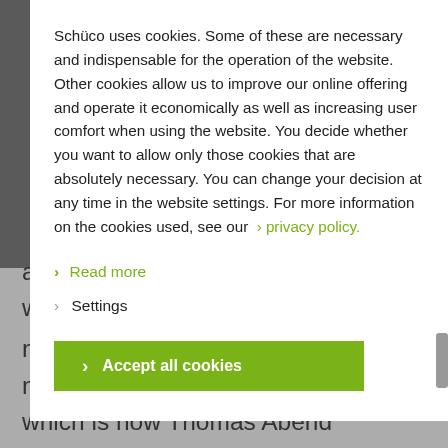Schüco uses cookies. Some of these are necessary and indispensable for the operation of the website. Other cookies allow us to improve our online offering and operate it economically as well as increasing user comfort when using the website. You decide whether you want to allow only those cookies that are absolutely necessary. You can change your decision at any time in the website settings. For more information on the cookies used, see our > privacy policy.
> Read more
> Settings
> Accept all cookies
all topologies and systems. »What would we display if we only had 500 m² of space?« was the central message of the new exhibition stand, which is how Thomas Abend